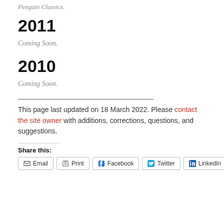Penguin Classics.
2011
Coming Soon.
2010
Coming Soon.
This page last updated on 18 March 2022. Please contact the site owner with additions, corrections, questions, and suggestions.
Share this:
Email
Print
Facebook
Twitter
LinkedIn